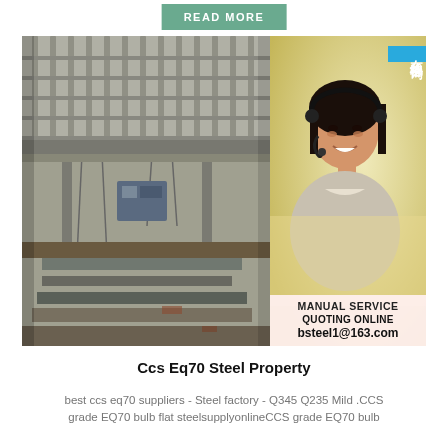READ MORE
[Figure (photo): Composite image showing a steel factory/industrial crane scene on the left and a customer service representative with headset on the right, with a blue Chinese text badge (在线咨询) and a service overlay showing 'MANUAL SERVICE', 'QUOTING ONLINE', 'bsteel1@163.com']
Ccs Eq70 Steel Property
best ccs eq70 suppliers - Steel factory - Q345 Q235 Mild .CCS grade EQ70 bulb flat steelsupplyonlineCCS grade EQ70 bulb